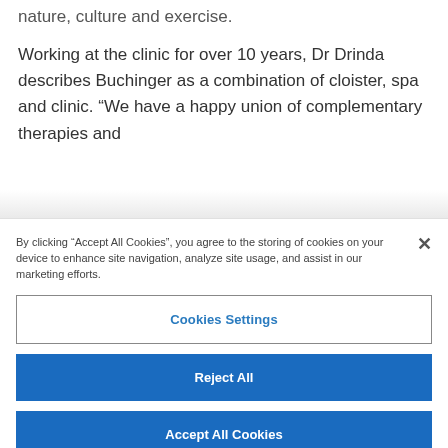nature, culture and exercise.
Working at the clinic for over 10 years, Dr Drinda describes Buchinger as a combination of cloister, spa and clinic. “We have a happy union of complementary therapies and
By clicking “Accept All Cookies”, you agree to the storing of cookies on your device to enhance site navigation, analyze site usage, and assist in our marketing efforts.
Cookies Settings
Reject All
Accept All Cookies